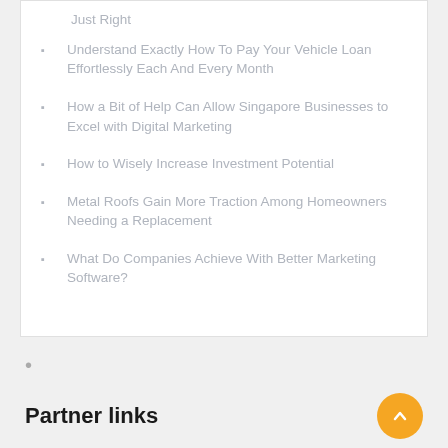Just Right
Understand Exactly How To Pay Your Vehicle Loan Effortlessly Each And Every Month
How a Bit of Help Can Allow Singapore Businesses to Excel with Digital Marketing
How to Wisely Increase Investment Potential
Metal Roofs Gain More Traction Among Homeowners Needing a Replacement
What Do Companies Achieve With Better Marketing Software?
•
Partner links